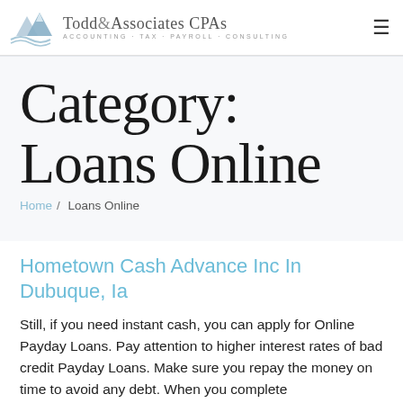Todd & Associates CPAs — ACCOUNTING · TAX · PAYROLL · CONSULTING
Category:
Loans Online
Home / Loans Online
Hometown Cash Advance Inc In Dubuque, Ia
Still, if you need instant cash, you can apply for Online Payday Loans. Pay attention to higher interest rates of bad credit Payday Loans. Make sure you repay the money on time to avoid any debt. When you complete